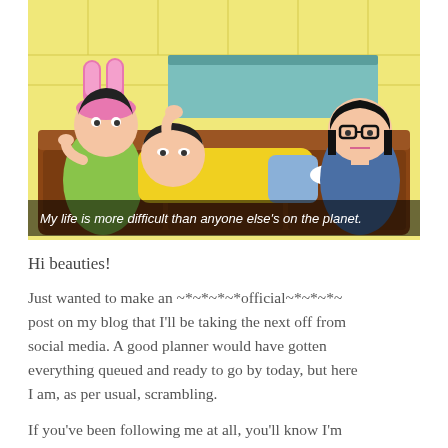[Figure (illustration): Animation still from Bob's Burgers showing three characters on a couch: Louise (left) with pink bunny ears in a green dress, Gene (center) lying down in a yellow shirt, and Tina (right) with glasses and black hair. Subtitle text reads: 'My life is more difficult than anyone else's on the planet.']
Hi beauties!
Just wanted to make an ~*~*~*~*official~*~*~*~ post on my blog that I'll be taking the next off from social media. A good planner would have gotten everything queued and ready to go by today, but here I am, as per usual, scrambling.
If you've been following me at all, you'll know I'm